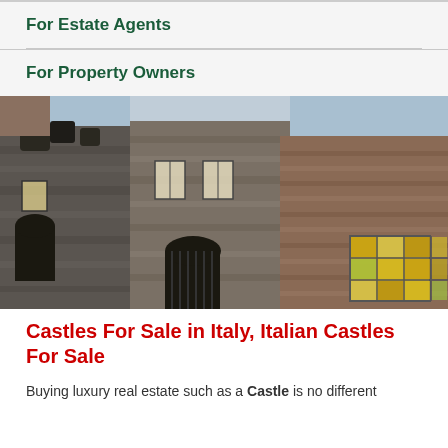For Estate Agents
For Property Owners
[Figure (photo): Photograph of an old Italian stone castle or medieval building exterior, showing stone walls, arched doorways, and windows with warm light inside. The stonework appears historic and weathered.]
Castles For Sale in Italy, Italian Castles For Sale
Buying luxury real estate such as a Castle is no different